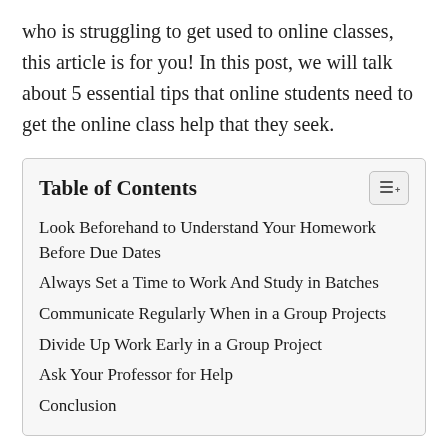who is struggling to get used to online classes, this article is for you! In this post, we will talk about 5 essential tips that online students need to get the online class help that they seek.
| Table of Contents |
| --- |
| Look Beforehand to Understand Your Homework Before Due Dates |
| Always Set a Time to Work And Study in Batches |
| Communicate Regularly When in a Group Projects |
| Divide Up Work Early in a Group Project |
| Ask Your Professor for Help |
| Conclusion |
Look Beforehand to Understand Your